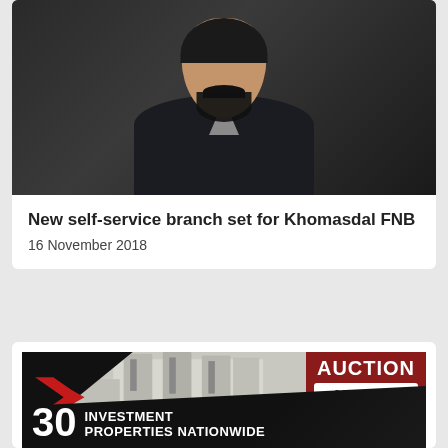[Figure (photo): Headshot photo of a man with dark hair and beard wearing a dark jacket]
New self-service branch set for Khomasdal FNB
16 November 2018
[Figure (photo): Auction advertisement showing a modern building with text: AUCTION 24 Aug 2022 17:00 Registration: 14:00 and 30 INVESTMENT PROPERTIES NATIONWIDE]